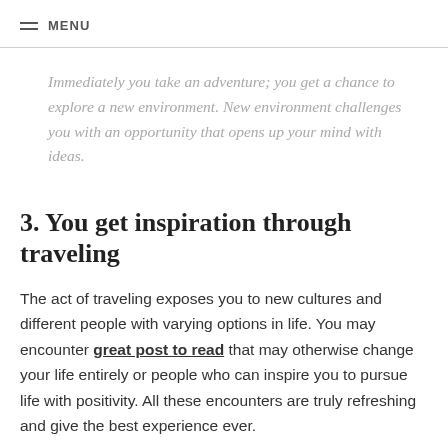MENU
Immediately you take an adventure; you get a chance to explore a new environment. New environment challenges you with an opportunity that opens up your mind with ideas.
3. You get inspiration through traveling
The act of traveling exposes you to new cultures and different people with varying options in life. You may encounter great post to read that may otherwise change your life entirely or people who can inspire you to pursue life with positivity. All these encounters are truly refreshing and give the best experience ever.